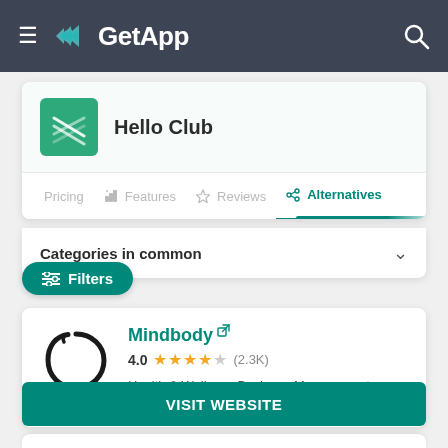GetApp
Hello Club
Pricing | Features | Reviews | Alternatives
Categories in common
Filters
Mindbody
4.0 (2.3K)
Health & Wellness Business Management Software
VISIT WEBSITE